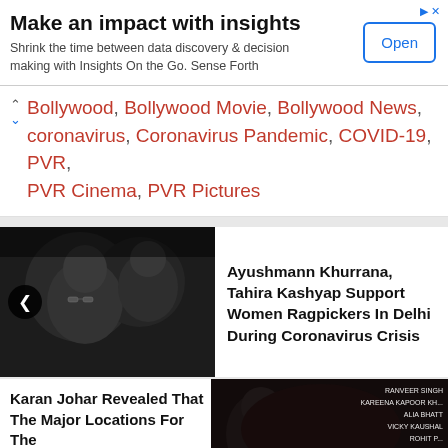[Figure (screenshot): Advertisement banner: 'Make an impact with insights' with Open button]
Make an impact with insights
Shrink the time between data discovery & decision making with Insights On the Go. Sense Forth
Bollywood, Bollywood Movie, Bollywood News, coronavirus, Coronavirus Pandemic, COVID-19, PVR, PVR Cinema, PVR Pictures
[Figure (photo): Photo of Ayushmann Khurrana and Tahira Kashyap]
Ayushmann Khurrana, Tahira Kashyap Support Women Ragpickers In Delhi During Coronavirus Crisis
Karan Johar Revealed That The Major Locations For The
[Figure (photo): Photo related to Karan Johar article with cast names overlay]